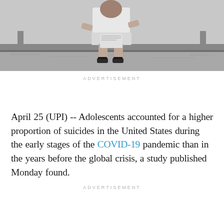[Figure (photo): Black and white photograph of a young person (adolescent) sitting on a bench, wearing a white top and black shoes, looking downward]
ADVERTISEMENT
April 25 (UPI) -- Adolescents accounted for a higher proportion of suicides in the United States during the early stages of the COVID-19 pandemic than in the years before the global crisis, a study published Monday found.
ADVERTISEMENT